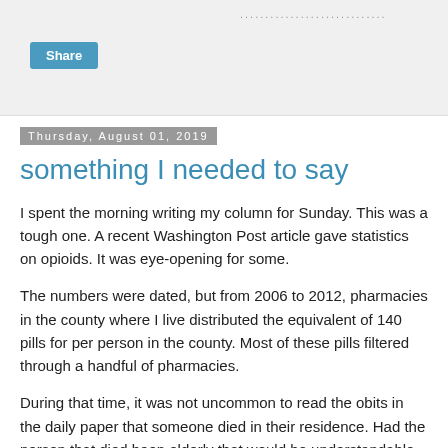[Figure (screenshot): Top gray bar with a Share button and a dotted line element]
Thursday, August 01, 2019
something I needed to say
I spent the morning writing my column for Sunday. This was a tough one. A recent Washington Post article gave statistics on opioids. It was eye-opening for some.
The numbers were dated, but from 2006 to 2012, pharmacies in the county where I live distributed the equivalent of 140 pills for per person in the county. Most of these pills filtered through a handful of pharmacies.
During that time, it was not uncommon to read the obits in the daily paper that someone died in their residence. Had the person that died been elderly that would be understandable, but when they are 22 years old, that's a different story. It's almost always a code phrase for accidental overdose. I don't know how many people died as a result of opioid addiction.